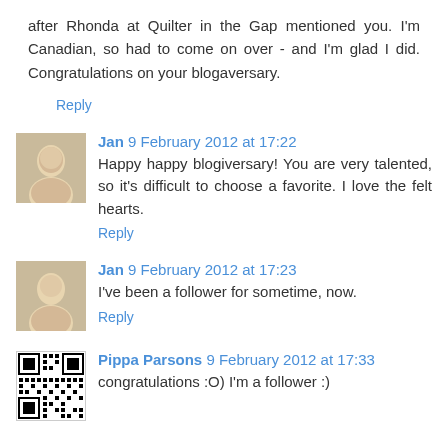after Rhonda at Quilter in the Gap mentioned you. I'm Canadian, so had to come on over - and I'm glad I did. Congratulations on your blogaversary.
Reply
Jan 9 February 2012 at 17:22
Happy happy blogiversary! You are very talented, so it's difficult to choose a favorite. I love the felt hearts.
Reply
Jan 9 February 2012 at 17:23
I've been a follower for sometime, now.
Reply
Pippa Parsons 9 February 2012 at 17:33
congratulations :O) I'm a follower :)